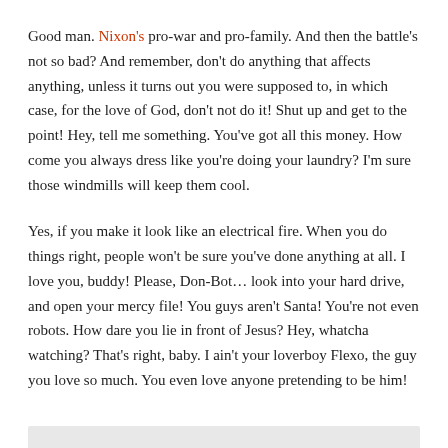Good man. Nixon's pro-war and pro-family. And then the battle's not so bad? And remember, don't do anything that affects anything, unless it turns out you were supposed to, in which case, for the love of God, don't not do it! Shut up and get to the point! Hey, tell me something. You've got all this money. How come you always dress like you're doing your laundry? I'm sure those windmills will keep them cool.
Yes, if you make it look like an electrical fire. When you do things right, people won't be sure you've done anything at all. I love you, buddy! Please, Don-Bot… look into your hard drive, and open your mercy file! You guys aren't Santa! You're not even robots. How dare you lie in front of Jesus? Hey, whatcha watching? That's right, baby. I ain't your loverboy Flexo, the guy you love so much. You even love anyone pretending to be him!